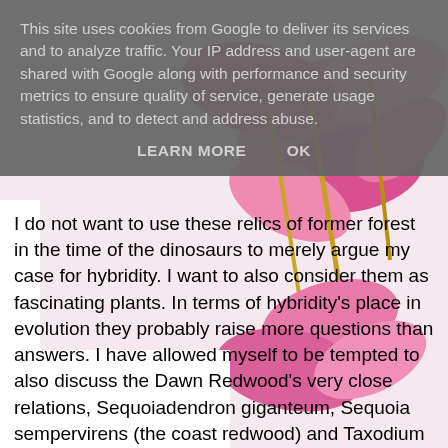This site uses cookies from Google to deliver its services and to analyze traffic. Your IP address and user-agent are shared with Google along with performance and security metrics to ensure quality of service, generate usage statistics, and to detect and address abuse.
LEARN MORE   OK
[Figure (photo): Pink flowers (bleeding heart or similar) against a white background, partially visible behind the cookie overlay and text.]
I do not want to use these relics of former forest in the time of the dinosaurs to merely argue my case for hybridity. I want to also consider them as fascinating plants. In terms of hybridity's place in evolution they probably raise more questions than answers. I have allowed myself to be tempted to also discuss the Dawn Redwood's very close relations, Sequoiadendron giganteum, Sequoia sempervirens (the coast redwood) and Taxodium distichum (the swamp cypress). They are all very big, exceedingly long lived trees and in terms of plant classification are placed close together.